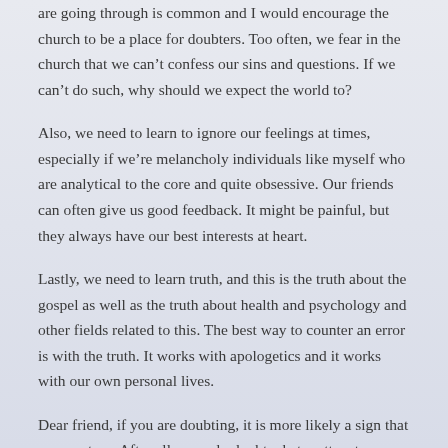are going through is common and I would encourage the church to be a place for doubters. Too often, we fear in the church that we can't confess our sins and questions. If we can't do such, why should we expect the world to?
Also, we need to learn to ignore our feelings at times, especially if we're melancholy individuals like myself who are analytical to the core and quite obsessive. Our friends can often give us good feedback. It might be painful, but they always have our best interests at heart.
Lastly, we need to learn truth, and this is the truth about the gospel as well as the truth about health and psychology and other fields related to this. The best way to counter an error is with the truth. It works with apologetics and it works with our own personal lives.
Dear friend, if you are doubting, it is more likely a sign that you are true. After all, we only doubt what matters to us. Rest